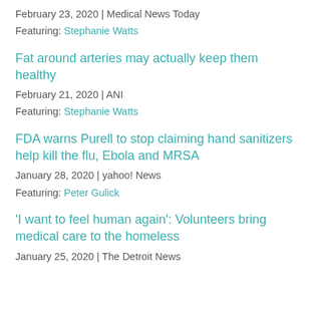February 23, 2020 | Medical News Today
Featuring: Stephanie Watts
Fat around arteries may actually keep them healthy
February 21, 2020 | ANI
Featuring: Stephanie Watts
FDA warns Purell to stop claiming hand sanitizers help kill the flu, Ebola and MRSA
January 28, 2020 | yahoo! News
Featuring: Peter Gulick
'I want to feel human again': Volunteers bring medical care to the homeless
January 25, 2020 | The Detroit News